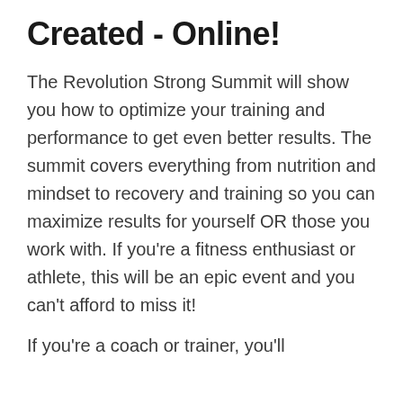Created - Online!
The Revolution Strong Summit will show you how to optimize your training and performance to get even better results. The summit covers everything from nutrition and mindset to recovery and training so you can maximize results for yourself OR those you work with. If you're a fitness enthusiast or athlete, this will be an epic event and you can't afford to miss it!
If you're a coach or trainer, you'll